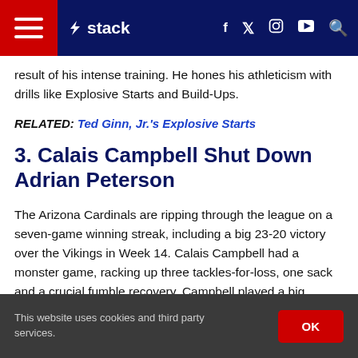stack
result of his intense training. He hones his athleticism with drills like Explosive Starts and Build-Ups.
RELATED: Ted Ginn, Jr.'s Explosive Starts
3. Calais Campbell Shut Down Adrian Peterson
The Arizona Cardinals are ripping through the league on a seven-game winning streak, including a big 23-20 victory over the Vikings in Week 14. Calais Campbell had a monster game, racking up three tackles-for-loss, one sack and a crucial fumble recovery. Campbell played a big
This website uses cookies and third party services.